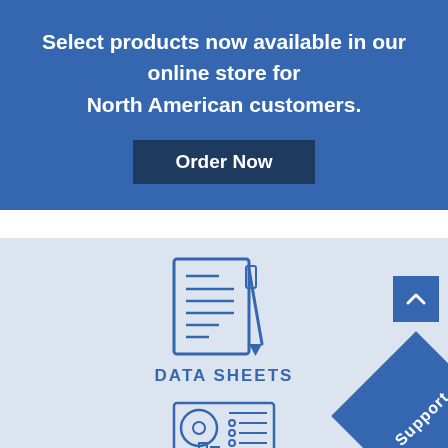Select products now available in our online store for North American customers.
Order Now
[Figure (illustration): Document with pen icon representing data sheets]
DATA SHEETS
[Figure (illustration): Device/instrument icon at the bottom]
Support